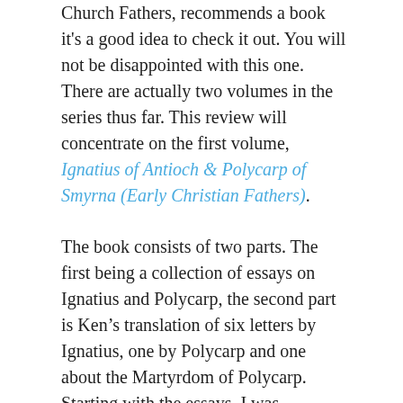Church Fathers, recommends a book it's a good idea to check it out. You will not be disappointed with this one. There are actually two volumes in the series thus far. This review will concentrate on the first volume, Ignatius of Antioch & Polycarp of Smyrna (Early Christian Fathers).
The book consists of two parts. The first being a collection of essays on Ignatius and Polycarp, the second part is Ken's translation of six letters by Ignatius, one by Polycarp and one about the Martyrdom of Polycarp. Starting with the essays, I was impressed with the amount of information Ken managed to squeeze into the 6 essays that lead the book off. The other thing of note is that the Ken's writing is accessible to practically anyone. Sometimes when you pick up a book of this nature it